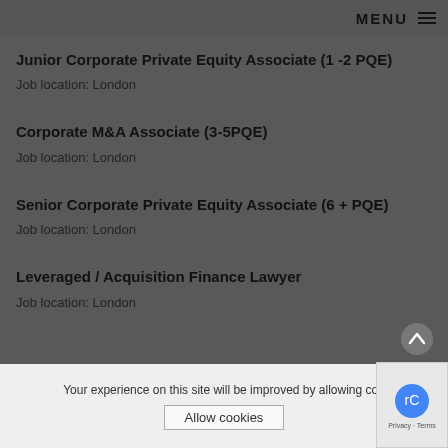MENU
Junior Corporate Private Equity Associate (1 -2 PQE)
Job location: London
Corporate M&A Associate (3-5PQE)
Job location: London
Senior Corporate Private Equity Associate (6 + PQE)
Job location: London
Leveraged / Acquisition Finance Lawyer
Job location: London
Your experience on this site will be improved by allowing cookies
Allow cookies